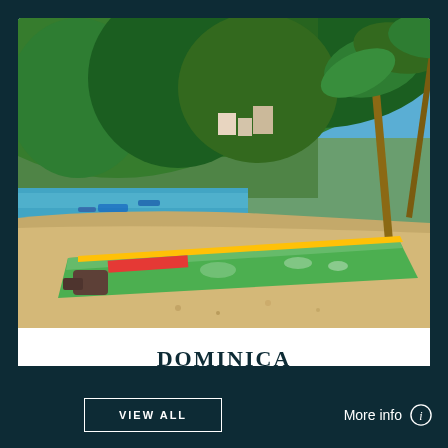[Figure (photo): Tropical beach scene with a green and yellow wooden boat on sandy shore, blue water, lush green hillside with buildings, palm trees on right side]
DOMINICA
Minimum $100,000 Donation
Real Estate Option
Citizenship
Visa Free Travel 153 Countries
More info
VIEW ALL